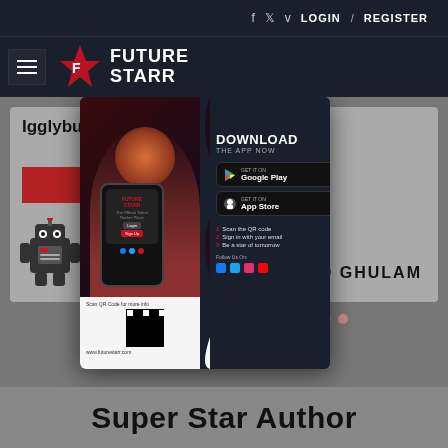f  twitter  v  LOGIN  /  REGISTER
[Figure (logo): Future Starr logo with red star and text FUTURE STARR on dark navy background, with hamburger menu icon]
Igglybuff
Read More
[Figure (screenshot): Future Starr app download promotional popup showing smartphone with app screen, DOWNLOAD THE APP NOW, Google Play and App Store buttons, QR code, steps: 1 Scan the QR code, 2 Sign in with your email, 3 Be a star of tomorrow, www.futurestarr.com]
JAD GHULAM
Super Star Author